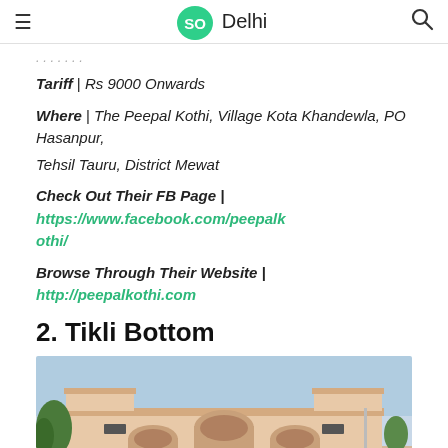SO Delhi
...
Tariff | Rs 9000 Onwards
Where | The Peepal Kothi, Village Kota Khandewla, PO Hasanpur, Tehsil Tauru, District Mewat
Check Out Their FB Page | https://www.facebook.com/peepalkothi/
Browse Through Their Website | http://peepalkothi.com
2. Tikli Bottom
[Figure (photo): Photo of Tikli Bottom building facade — a peach-colored heritage style building with arched entrance gate, trees on left, blue sky background.]